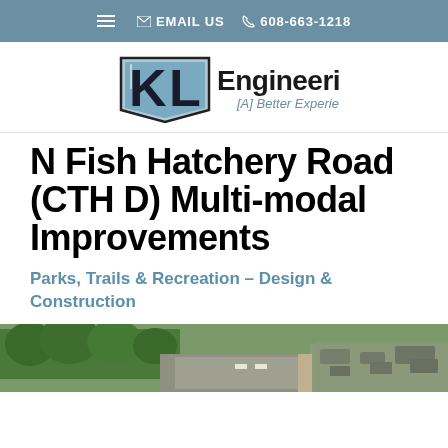EMAIL US   608-663-1218
[Figure (logo): KL Engineering logo with stylized KL letters and tagline '[A] Better Experience']
N Fish Hatchery Road (CTH D) Multi-modal Improvements
Parks, Trails & Recreation – Design & Construction
[Figure (photo): Aerial photograph of a multi-lane road with trees and vehicles]